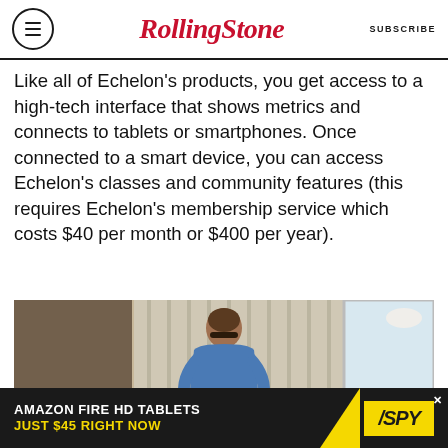RollingStone | SUBSCRIBE
Like all of Echelon’s products, you get access to a high-tech interface that shows metrics and connects to tablets or smartphones. Once connected to a smart device, you can access Echelon’s classes and community features (this requires Echelon’s membership service which costs $40 per month or $400 per year).
[Figure (photo): Person in blue t-shirt seen from behind, standing near a window with curtains and a plant, appearing to use a treadmill or exercise equipment]
[Figure (photo): Advertisement banner: AMAZON FIRE HD TABLETS JUST $45 RIGHT NOW with SPY logo on yellow background]